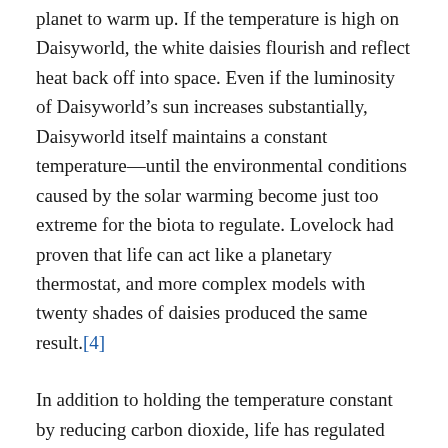planet to warm up. If the temperature is high on Daisyworld, the white daisies flourish and reflect heat back off into space. Even if the luminosity of Daisyworld's sun increases substantially, Daisyworld itself maintains a constant temperature—until the environmental conditions caused by the solar warming become just too extreme for the biota to regulate. Lovelock had proven that life can act like a planetary thermostat, and more complex models with twenty shades of daisies produced the same result.[4]
In addition to holding the temperature constant by reducing carbon dioxide, life has regulated the amount of oxygen in the atmosphere. Right now oxygen makes up 21% of the atmosphere, a level that must have remained